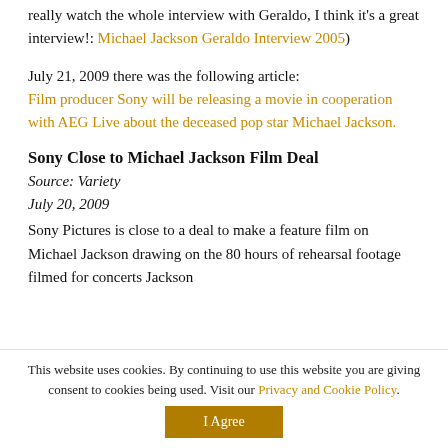really watch the whole interview with Geraldo, I think it's a great interview!: Michael Jackson Geraldo Interview 2005)
July 21, 2009 there was the following article: Film producer Sony will be releasing a movie in cooperation with AEG Live about the deceased pop star Michael Jackson.
Sony Close to Michael Jackson Film Deal
Source: Variety
July 20, 2009
Sony Pictures is close to a deal to make a feature film on Michael Jackson drawing on the 80 hours of rehearsal footage filmed for concerts Jackson
This website uses cookies. By continuing to use this website you are giving consent to cookies being used. Visit our Privacy and Cookie Policy. | I Agree